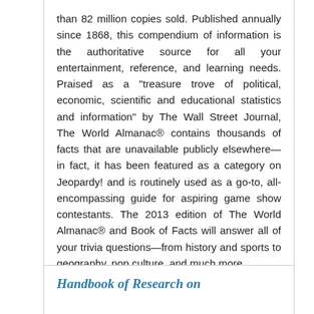than 82 million copies sold. Published annually since 1868, this compendium of information is the authoritative source for all your entertainment, reference, and learning needs. Praised as a "treasure trove of political, economic, scientific and educational statistics and information" by The Wall Street Journal, The World Almanac® contains thousands of facts that are unavailable publicly elsewhere—in fact, it has been featured as a category on Jeopardy! and is routinely used as a go-to, all-encompassing guide for aspiring game show contestants. The 2013 edition of The World Almanac® and Book of Facts will answer all of your trivia questions—from history and sports to geography, pop culture, and much more.
Handbook of Research on